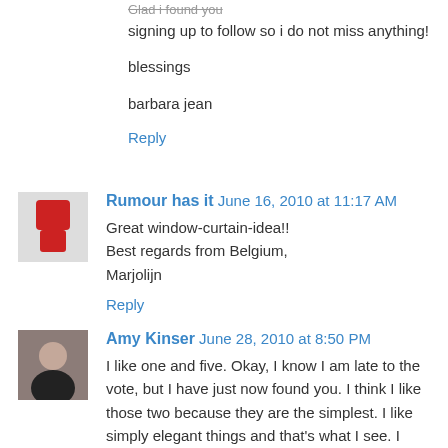signing up to follow so i do not miss anything!
blessings
barbara jean
Reply
Rumour has it  June 16, 2010 at 11:17 AM
Great window-curtain-idea!!
Best regards from Belgium,
Marjolijn
Reply
Amy Kinser  June 28, 2010 at 8:50 PM
I like one and five. Okay, I know I am late to the vote, but I have just now found you. I think I like those two because they are the simplest. I like simply elegant things and that's what I see. I LOVE those steering wheels. You are a big